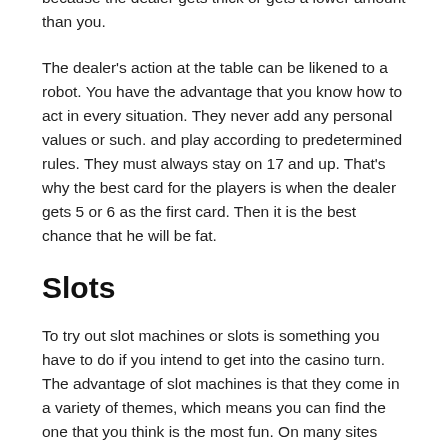double. You are doubling short and good when you think you have a very good chance of winning. Either because the dealer gets thick or gets a lower amount than you.
The dealer's action at the table can be likened to a robot. You have the advantage that you know how to act in every situation. They never add any personal values or such. and play according to predetermined rules. They must always stay on 17 and up. That's why the best card for the players is when the dealer gets 5 or 6 as the first card. Then it is the best chance that he will be fat.
Slots
To try out slot machines or slots is something you have to do if you intend to get into the casino turn. The advantage of slot machines is that they come in a variety of themes, which means you can find the one that you think is the most fun. On many sites you can also try different slots for free so you can try your way before you find your favorite.
One of the biggest differences between old and new slots is that most